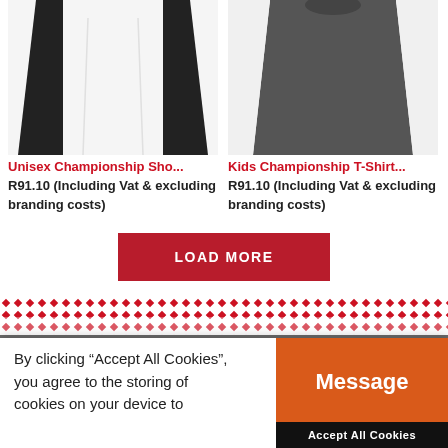[Figure (photo): Unisex white and black championship shorts product image, cropped at top]
[Figure (photo): Kids dark grey and white championship t-shirt product image, cropped at top]
Unisex Championship Sho...
R91.10 (Including Vat & excluding branding costs)
Kids Championship T-Shirt...
R91.10 (Including Vat & excluding branding costs)
[Figure (other): LOAD MORE red button]
[Figure (other): Decorative red diamond/arrow repeating pattern band]
PROMOBASKET
By clicking "Accept All Cookies", you agree to the storing of cookies on your device to
Message
Accept All Cookies